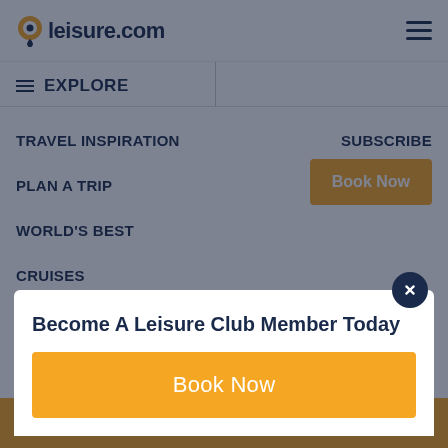leisure.com
EXPLORE
TRAVEL INSPIRATION
PLAN A TRIP
WORLD'S BEST
CRUISES
DESTINATION OF THE YEAR
SUBSCRIBE
Book Now
Become A Leisure Club Member Today
Book Now
Let Us Plan Your Trip